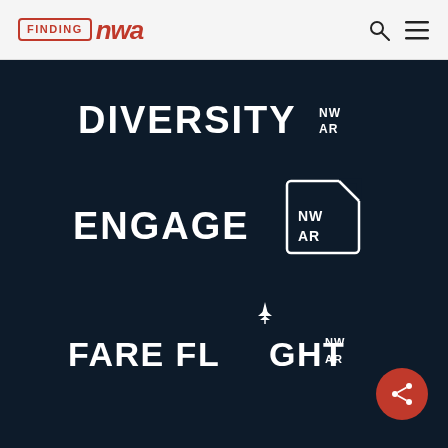FINDING nwa
[Figure (logo): DIVERSITY NW AR logo — white bold uppercase text on dark navy background with stacked NW/AR superscript badge]
[Figure (logo): ENGAGE NW AR logo — white bold uppercase text on dark navy background with Arkansas-state-outline bordered NW AR badge]
[Figure (logo): FARE FLIGHT NW AR logo — white bold uppercase text on dark navy background with airplane icon above the L in FLIGHT and stacked NW/AR badge]